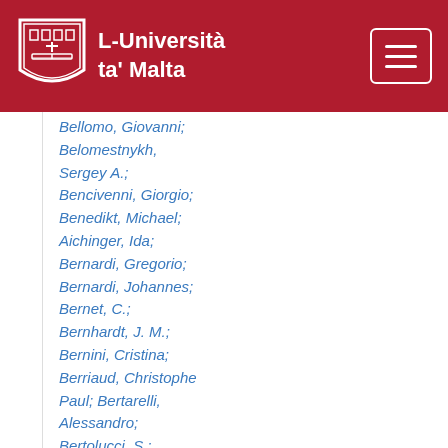L-Università ta' Malta
Bellomo, Giovanni;
Belomestnykh, Sergey A.;
Bencivenni, Giorgio;
Benedikt, Michael; Aichinger, Ida;
Bernardi, Gregorio;
Bernardi, Johannes;
Bernet, C.;
Bernhardt, J. M.;
Bernini, Cristina;
Berriaud, Christophe Paul;
Bertarelli, Alessandro;
Bertolucci, S.;
Besana, Maria Ilaria;
Besançon, Marc;
Aielli, Giulio;
Beznosov, Oleksii;
Bhat, Pushpalatha